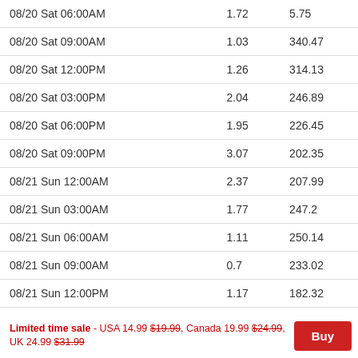| 08/20 Sat 06:00AM | 1.72 | 5.75 |
| 08/20 Sat 09:00AM | 1.03 | 340.47 |
| 08/20 Sat 12:00PM | 1.26 | 314.13 |
| 08/20 Sat 03:00PM | 2.04 | 246.89 |
| 08/20 Sat 06:00PM | 1.95 | 226.45 |
| 08/20 Sat 09:00PM | 3.07 | 202.35 |
| 08/21 Sun 12:00AM | 2.37 | 207.99 |
| 08/21 Sun 03:00AM | 1.77 | 247.2 |
| 08/21 Sun 06:00AM | 1.11 | 250.14 |
| 08/21 Sun 09:00AM | 0.7 | 233.02 |
| 08/21 Sun 12:00PM | 1.17 | 182.32 |
| 08/21 Sun 03:00PM | 1.88 | 212.33 |
| 08/21 Sun 06:00PM | 2.68 | 202.07 |
Limited time sale - USA 14.99 $19.99, Canada 19.99 $24.99, UK 24.99 $31.99